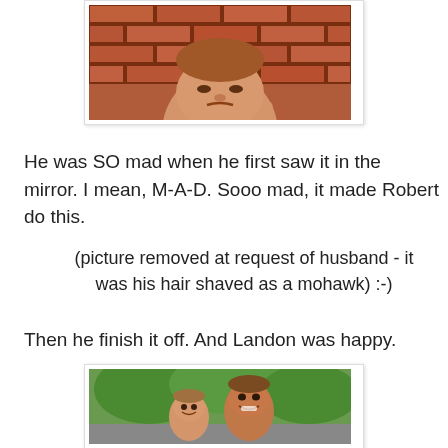[Figure (photo): Child (toddler/young boy) with unhappy expression against a brick wall background, shirtless, partial view cropped at top]
He was SO mad when he first saw it in the mirror. I mean, M-A-D. Sooo mad, it made Robert do this.
(picture removed at request of husband - it was his hair shaved as a mohawk) :-)
Then he finish it off. And Landon was happy.
[Figure (photo): A young boy and a man (father) smiling together outdoors with trees in background, both with shaved/short hair, shirtless]